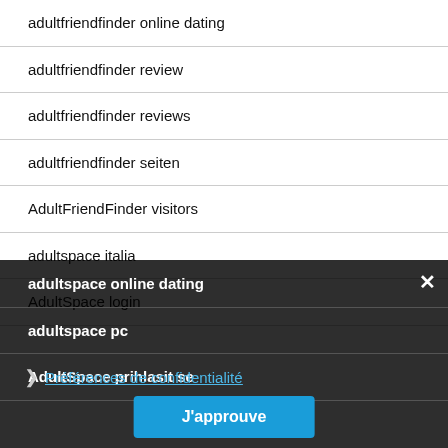adultfriendfinder online dating
adultfriendfinder review
adultfriendfinder reviews
adultfriendfinder seiten
AdultFriendFinder visitors
adultspace italia
AdultSpace login
adultspace online dating
adultspace pc
AdultSpace prihlasit se
adultspace review